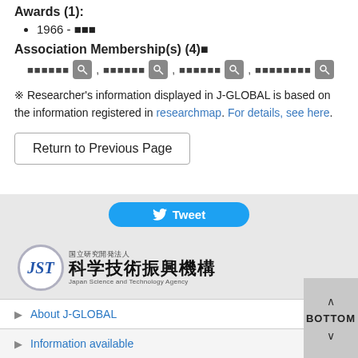Awards (1):
1966 - ■■■
Association Membership(s) (4)■
■■■■■■ , ■■■■■■ , ■■■■■■ , ■■■■■■■■
※ Researcher's information displayed in J-GLOBAL is based on the information registered in researchmap. For details, see here.
Return to Previous Page
[Figure (logo): Twitter Tweet button (blue rounded rectangle)]
[Figure (logo): JST Japan Science and Technology Agency logo]
About J-GLOBAL
Information available